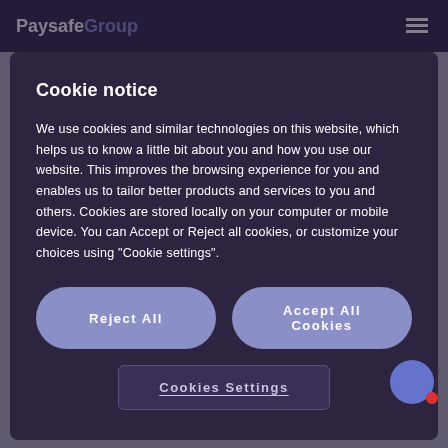Paysafe Group
Cookie notice
We use cookies and similar technologies on this website, which helps us to know a little bit about you and how you use our website. This improves the browsing experience for you and enables us to tailor better products and services to you and others. Cookies are stored locally on your computer or mobile device. You can Accept or Reject all cookies, or customize your choices using "Cookie settings".
Reject All
Accept All Cookies
Cookies Settings
Jun 30, 2022
Paysafe enters Arkansas iGaming market with BetSarac